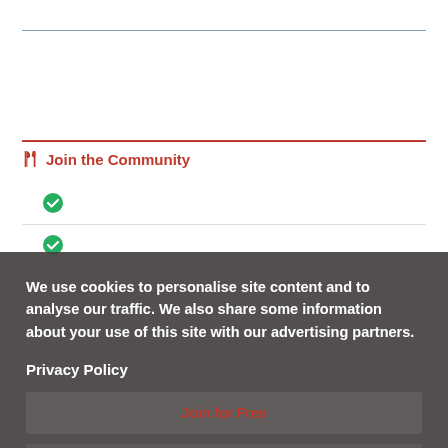Join the Community
(checkmark item 1)
(checkmark item 2)
We use cookies to personalise site content and to analyse our traffic. We also share some information about your use of this site with our advertising partners.
Privacy Policy
Join for Free
Accept